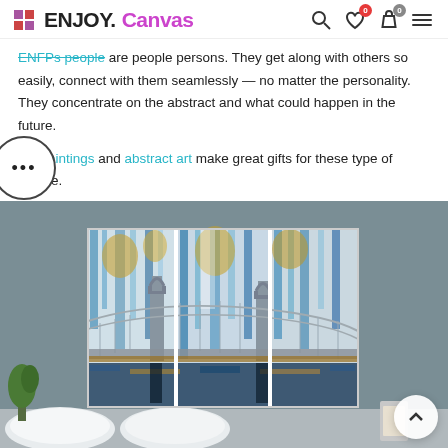ENJOY.Canvas — navigation header with search, wishlist (0), cart (0), and menu icons
ENFPs people are people persons. They get along with others so easily, connect with them seamlessly — no matter the personality. They concentrate on the abstract and what could happen in the future.
Paintings and abstract art make great gifts for these type of people.
[Figure (photo): Abstract triptych canvas painting of the Brooklyn Bridge in blue, gold, and white dripping paint style, displayed on a wall above a sofa with pillows and decorative plants.]